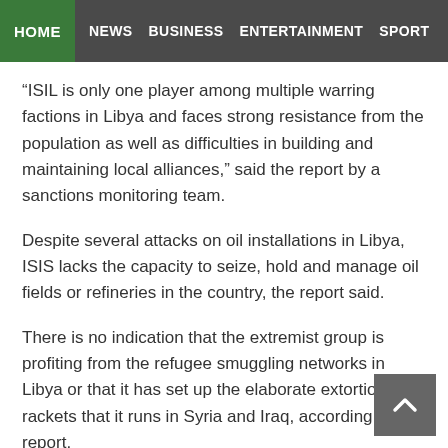HOME  NEWS  BUSINESS  ENTERTAINMENT  SPORT
Libya but the report cited several weaknesses in operations that... view... an IS rear base.
"ISIL is only one player among multiple warring factions in Libya and faces strong resistance from the population as well as difficulties in building and maintaining local alliances," said the report by a sanctions monitoring team.
Despite several attacks on oil installations in Libya, ISIS lacks the capacity to seize, hold and manage oil fields or refineries in the country, the report said.
There is no indication that the extremist group is profiting from the refugee smuggling networks in Libya or that it has set up the elaborate extortion rackets that it runs in Syria and Iraq, according to the report.